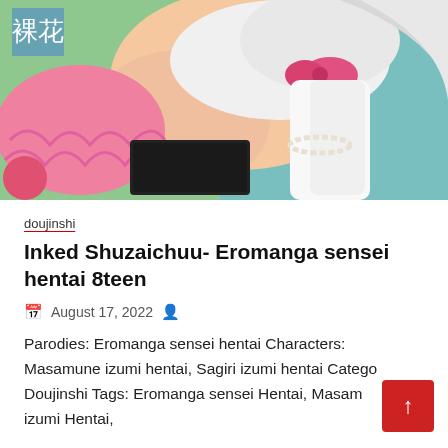[Figure (illustration): Anime/manga style illustration showing a female character with white/silver hair, wearing white clothing with a pink bow, lying down with a pink ruffled garment and a dark tablet device visible]
doujinshi
Inked Shuzaichuu- Eromanga sensei hentai 8teen
August 17, 2022
Parodies: Eromanga sensei hentai Characters: Masamune izumi hentai, Sagiri izumi hentai Categories: Doujinshi Tags: Eromanga sensei Hentai, Masamune izumi Hentai,